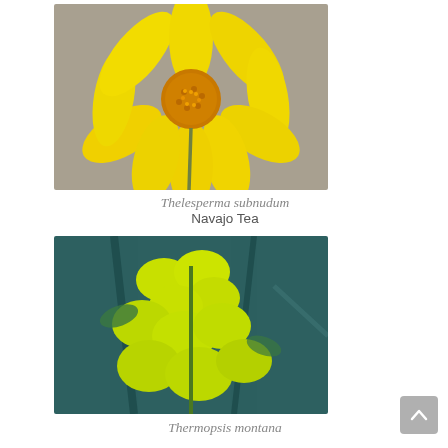[Figure (photo): Close-up photograph of a yellow daisy-like flower (Thelesperma subnudum / Navajo Tea) with many narrow yellow petals and an orange-yellow center, on a blurred grey-green background.]
Thelesperma subnudum
Navajo Tea
[Figure (photo): Close-up photograph of yellow-green pea-like flowers of Thermopsis montana against a teal/dark green leafy background.]
Thermopsis montana